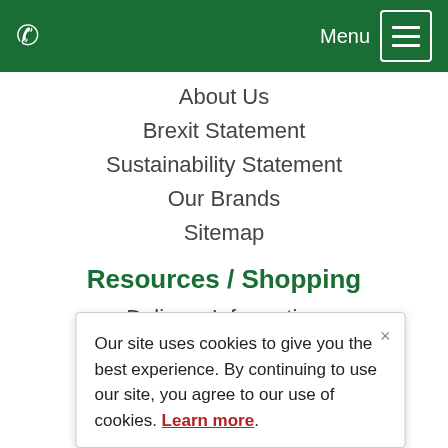☎  Menu ☰
About Us
Brexit Statement
Sustainability Statement
Our Brands
Sitemap
Resources / Shopping
Delivery Information
Returns Policy
Privacy Policy
Terms And Conditions
Modern Slavery Statement
Allergen Disclaimer
Mono…
Our site uses cookies to give you the best experience. By continuing to use our site, you agree to our use of cookies. Learn more.